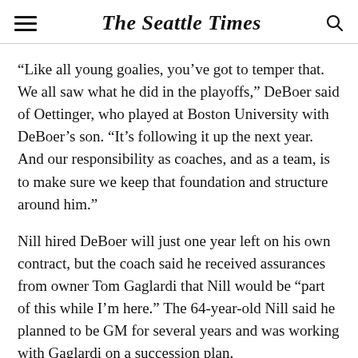The Seattle Times
“Like all young goalies, you’ve got to temper that. We all saw what he did in the playoffs,” DeBoer said of Oettinger, who played at Boston University with DeBoer’s son. “It’s following it up the next year. And our responsibility as coaches, and as a team, is to make sure we keep that foundation and structure around him.”
Nill hired DeBoer will just one year left on his own contract, but the coach said he received assurances from owner Tom Gaglardi that Nill would be “part of this while I’m here.” The 64-year-old Nill said he planned to be GM for several years and was working with Gaglardi on a succession plan.